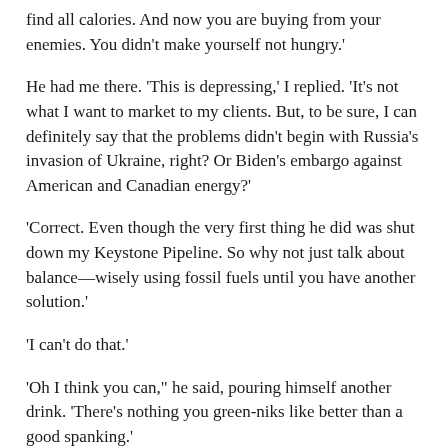find all calories. And now you are buying from your enemies. You didn't make yourself not hungry.'
He had me there. 'This is depressing,' I replied. 'It's not what I want to market to my clients. But, to be sure, I can definitely say that the problems didn't begin with Russia's invasion of Ukraine, right? Or Biden's embargo against American and Canadian energy?'
'Correct. Even though the very first thing he did was shut down my Keystone Pipeline. So why not just talk about balance—wisely using fossil fuels until you have another solution.'
'I can't do that.'
'Oh I think you can," he said, pouring himself another drink. 'There's nothing you green-niks like better than a good spanking.'